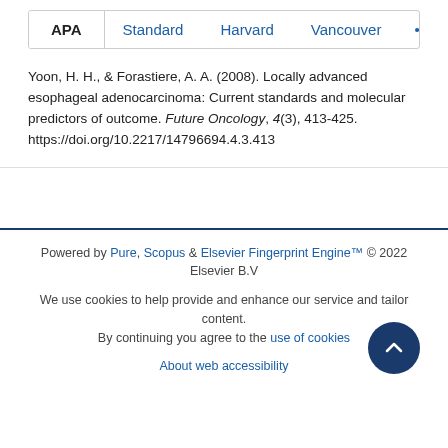APA  Standard  Harvard  Vancouver  ...
Yoon, H. H., & Forastiere, A. A. (2008). Locally advanced esophageal adenocarcinoma: Current standards and molecular predictors of outcome. Future Oncology, 4(3), 413-425. https://doi.org/10.2217/14796694.4.3.413
Powered by Pure, Scopus & Elsevier Fingerprint Engine™ © 2022 Elsevier B.V
We use cookies to help provide and enhance our service and tailor content. By continuing you agree to the use of cookies
About web accessibility